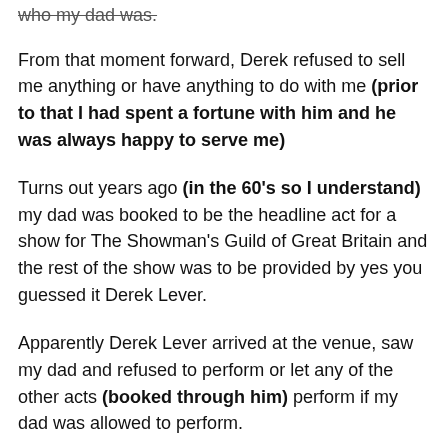who my dad was.
From that moment forward, Derek refused to sell me anything or have anything to do with me (prior to that I had spent a fortune with him and he was always happy to serve me)
Turns out years ago (in the 60's so I understand) my dad was booked to be the headline act for a show for The Showman's Guild of Great Britain and the rest of the show was to be provided by yes you guessed it Derek Lever.
Apparently Derek Lever arrived at the venue, saw my dad and refused to perform or let any of the other acts (booked through him) perform if my dad was allowed to perform.
Well Derek got his wish, however he was somewhat disappointed to cite the President of The Showman's...